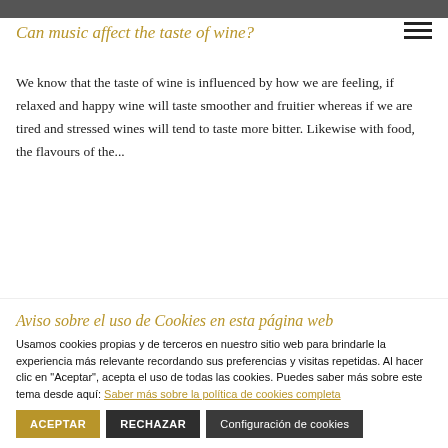[Figure (photo): Partial photo strip at top of page]
Can music affect the taste of wine?
We know that the taste of wine is influenced by how we are feeling, if relaxed and happy wine will taste smoother and fruitier whereas if we are tired and stressed wines will tend to taste more bitter. Likewise with food, the flavours of the...
Aviso sobre el uso de Cookies en esta página web
Usamos cookies propias y de terceros en nuestro sitio web para brindarle la experiencia más relevante recordando sus preferencias y visitas repetidas. Al hacer clic en "Aceptar", acepta el uso de todas las cookies. Puedes saber más sobre este tema desde aquí: Saber más sobre la política de cookies completa
ACEPTAR
RECHAZAR
Configuración de cookies